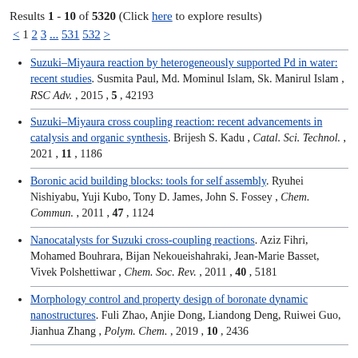Results 1 - 10 of 5320 (Click here to explore results)
< 1 2 3 ... 531 532 >
Suzuki–Miyaura reaction by heterogeneously supported Pd in water: recent studies. Susmita Paul, Md. Mominul Islam, Sk. Manirul Islam , RSC Adv. , 2015 , 5 , 42193
Suzuki–Miyaura cross coupling reaction: recent advancements in catalysis and organic synthesis. Brijesh S. Kadu , Catal. Sci. Technol. , 2021 , 11 , 1186
Boronic acid building blocks: tools for self assembly. Ryuhei Nishiyabu, Yuji Kubo, Tony D. James, John S. Fossey , Chem. Commun. , 2011 , 47 , 1124
Nanocatalysts for Suzuki cross-coupling reactions. Aziz Fihri, Mohamed Bouhrara, Bijan Nekoueishahraki, Jean-Marie Basset, Vivek Polshettiwar , Chem. Soc. Rev. , 2011 , 40 , 5181
Morphology control and property design of boronate dynamic nanostructures. Fuli Zhao, Anjie Dong, Liandong Deng, Ruiwei Guo, Jianhua Zhang , Polym. Chem. , 2019 , 10 , 2436